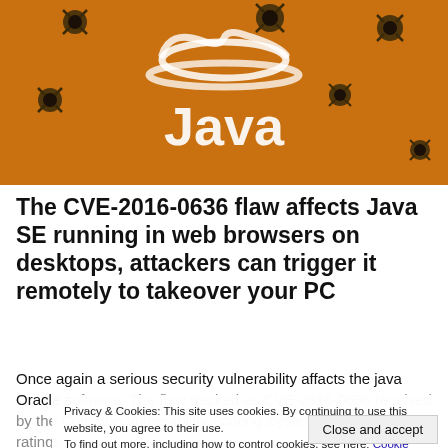[Figure (illustration): Orange background with Java logo (white steam/cup illustration) and bullet hole graphics scattered around]
The CVE-2016-0636 flaw affects Java SE running in web browsers on desktops, attackers can trigger it remotely to takeover your PC
Once again a serious security vulnerability affacts the java Oracle software. The flaw tracked as CVE-2016-0636 received by the Common Vulnerability Scoring System has severity ratings
The CVE-2016-0636 vulnerability affects Java SE running in browsers on desktops, this means that an attacker could s
Privacy & Cookies: This site uses cookies. By continuing to use this website, you agree to their use. To find out more, including how to control cookies, see here: Cookie Policy
Close and accept